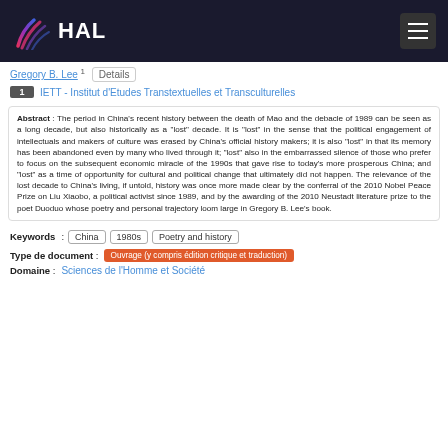[Figure (logo): HAL open archive logo with colored fan/wave icon and white HAL text on dark background header bar]
Gregory B. Lee · Details
1  IETT - Institut d'Etudes Transtextuelles et Transculturelles
Abstract : The period in China's recent history between the death of Mao and the debacle of 1989 can be seen as a long decade, but also historically as a "lost" decade. It is "lost" in the sense that the political engagement of intellectuals and makers of culture was erased by China's official history makers; it is also "lost" in that its memory has been abandoned even by many who lived through it; "lost" also in the embarrassed silence of those who prefer to focus on the subsequent economic miracle of the 1990s that gave rise to today's more prosperous China; and "lost" as a time of opportunity for cultural and political change that ultimately did not happen. The relevance of the lost decade to China's living, if untold, history was once more made clear by the conferral of the 2010 Nobel Peace Prize on Liu Xiaobo, a political activist since 1989, and by the awarding of the 2010 Neustadt literature prize to the poet Duoduo whose poetry and personal trajectory loom large in Gregory B. Lee's book.
Keywords : China  1980s  Poetry and history
Type de document : Ouvrage (y compris édition critique et traduction)
Domaine :
Sciences de l'Homme et Société